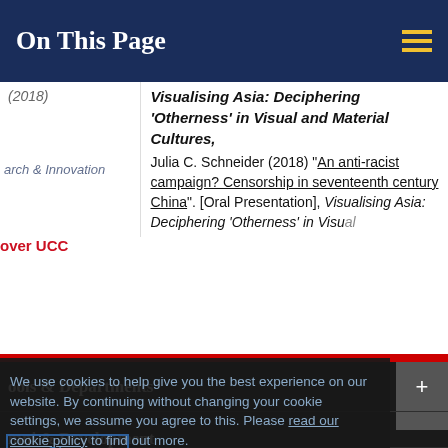On This Page
| (date) | Title / Reference |
| --- | --- |
| (2018) | Visualising Asia: Deciphering 'Otherness' in Visual and Material Cultures,
Julia C. Schneider (2018) "An anti-racist campaign? Censorship in seventeenth century China". [Oral Presentation], Visualising Asia: Deciphering 'Otherness' in Visual... |
ools & Departments
iness & Enterprise
mni & Development
We use cookies to help give you the best experience on our website. By continuing without changing your cookie settings, we assume you agree to this. Please read our cookie policy to find out more.
Close
Home